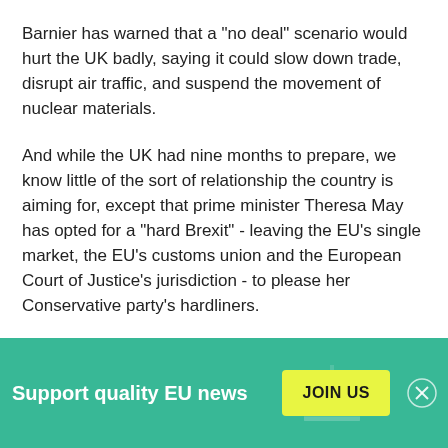Barnier has warned that a "no deal" scenario would hurt the UK badly, saying it could slow down trade, disrupt air traffic, and suspend the movement of nuclear materials.
And while the UK had nine months to prepare, we know little of the sort of relationship the country is aiming for, except that prime minister Theresa May has opted for a "hard Brexit" - leaving the EU's single market, the EU's customs union and the European Court of Justice's jurisdiction - to please her Conservative party's hardliners.
Historic mistake
[Figure (infographic): Green subscription banner with text 'Support quality EU news', a yellow 'JOIN US' button, a decorative building/parliament icon, and a close (X) button.]